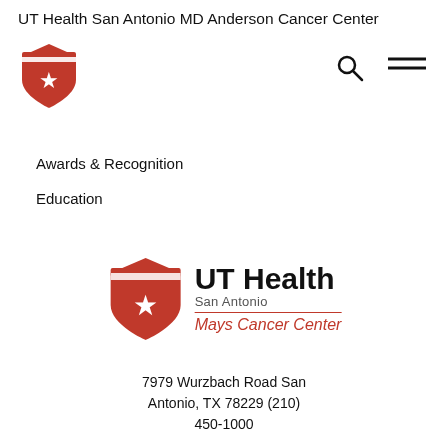UT Health San Antonio MD Anderson Cancer Center
[Figure (logo): UT Health shield logo (orange shield with white star) in header]
[Figure (other): Search icon and hamburger menu icon in header]
Awards & Recognition
Education
[Figure (logo): UT Health San Antonio Mays Cancer Center logo with orange shield and star]
7979 Wurzbach Road San Antonio, TX 78229 (210) 450-1000